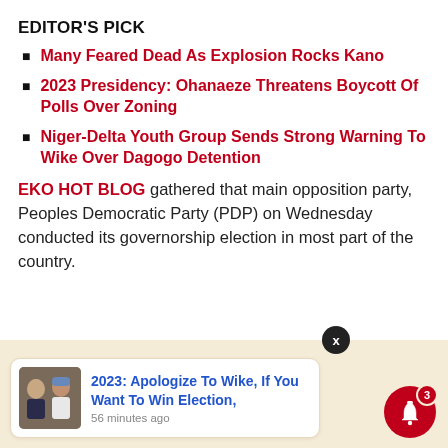EDITOR'S PICK
Many Feared Dead As Explosion Rocks Kano
2023 Presidency: Ohanaeze Threatens Boycott Of Polls Over Zoning
Niger-Delta Youth Group Sends Strong Warning To Wike Over Dagogo Detention
EKO HOT BLOG gathered that main opposition party, Peoples Democratic Party (PDP) on Wednesday conducted its governorship election in most part of the country.
[Figure (other): Notification card with photo of two men, headline '2023: Apologize To Wike, If You Want To Win Election,' and timestamp '56 minutes ago'. A close button (X) and bell icon with badge showing 3 are also visible.]